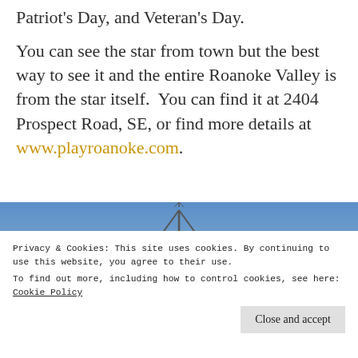Patriot's Day, and Veteran's Day.
You can see the star from town but the best way to see it and the entire Roanoke Valley is from the star itself.  You can find it at 2404 Prospect Road, SE, or find more details at www.playroanoke.com.
[Figure (photo): Photo of a star structure on a metal tower against a blue sky, with tree silhouettes at the bottom.]
Privacy & Cookies: This site uses cookies. By continuing to use this website, you agree to their use.
To find out more, including how to control cookies, see here: Cookie Policy
Close and accept